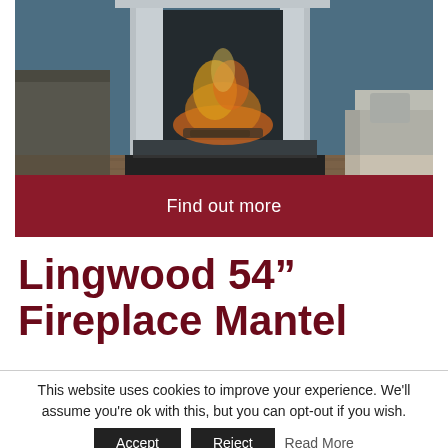[Figure (photo): A gas fireplace with white mantel surround in a living room setting with blue-grey walls, hardwood floors, grey area rug, and a grey armchair visible to the right.]
Find out more
Lingwood 54" Fireplace Mantel
This website uses cookies to improve your experience. We'll assume you're ok with this, but you can opt-out if you wish. Accept Reject Read More